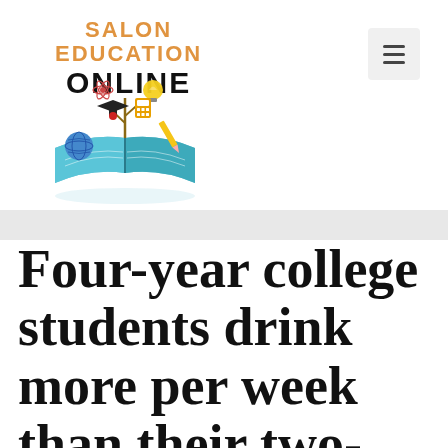[Figure (logo): Salon Education Online logo with text SALON EDUCATION ONLINE and an illustration of an open book with educational items (globe, graduation cap, lightbulb, science symbols, pencil) floating above it]
[Figure (other): Hamburger menu button (three horizontal lines) in a light grey rounded rectangle, positioned top right]
Four-year college students drink more per week than their two-